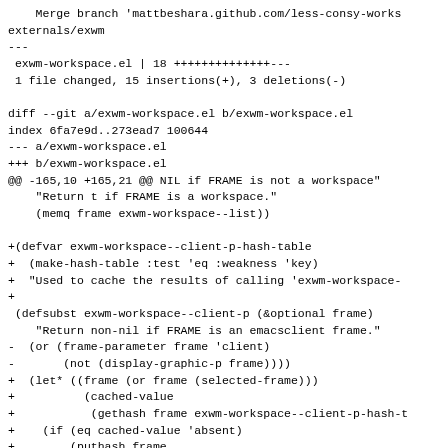Merge branch 'mattbeshara.github.com/less-consy-works externals/exwm
---
 exwm-workspace.el | 18 ++++++++++++++---
 1 file changed, 15 insertions(+), 3 deletions(-)

diff --git a/exwm-workspace.el b/exwm-workspace.el
index 6fa7e9d..273ead7 100644
--- a/exwm-workspace.el
+++ b/exwm-workspace.el
@@ -165,10 +165,21 @@ NIL if FRAME is not a workspace"
     "Return t if FRAME is a workspace."
     (memq frame exwm-workspace--list))

+(defvar exwm-workspace--client-p-hash-table
+  (make-hash-table :test 'eq :weakness 'key)
+  "Used to cache the results of calling 'exwm-workspace-
+
  (defsubst exwm-workspace--client-p (&optional frame)
     "Return non-nil if FRAME is an emacsclient frame."
-  (or (frame-parameter frame 'client)
-       (not (display-graphic-p frame)))
+  (let* ((frame (or frame (selected-frame)))
+          (cached-value
+           (gethash frame exwm-workspace--client-p-hash-t
+    (if (eq cached-value 'absent)
+        (puthash frame
+                 (or (frame-parameter frame 'client)
+                      (not (display-graphic-p frame)))
+                 exwm-workspace--client-p-hash-table)